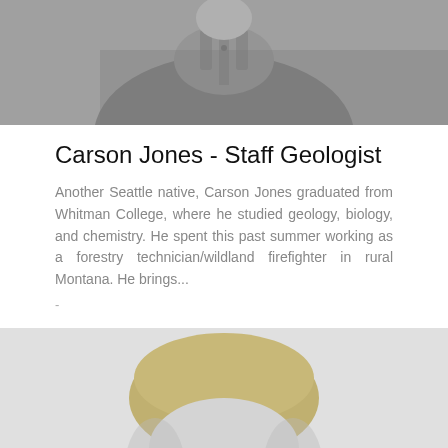[Figure (photo): Black and white headshot photo of Carson Jones, cropped showing shoulders and neck area, wearing a button-up shirt]
Carson Jones - Staff Geologist
Another Seattle native, Carson Jones graduated from Whitman College, where he studied geology, biology, and chemistry. He spent this past summer working as a forestry technician/wildland firefighter in rural Montana. He brings...
-
[Figure (photo): Black and white headshot photo of a second person, showing top of head with blonde hair, partially visible at bottom of page]